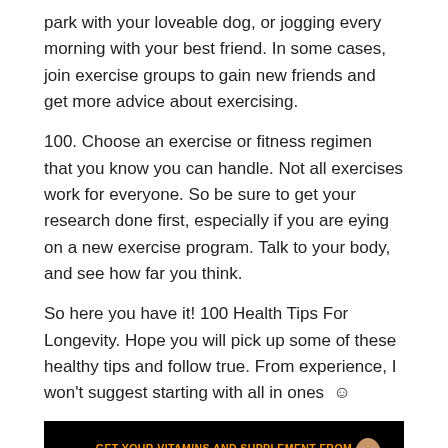park with your loveable dog, or jogging every morning with your best friend. In some cases, join exercise groups to gain new friends and get more advice about exercising.
100. Choose an exercise or fitness regimen that you know you can handle. Not all exercises work for everyone. So be sure to get your research done first, especially if you are eying on a new exercise program. Talk to your body, and see how far you think.
So here you have it! 100 Health Tips For Longevity. Hope you will pick up some of these healthy tips and follow true. From experience, I won't suggest starting with all in ones ☺
[Figure (advertisement): eVitamins advertisement banner on black background with orange header text 'GET YOUR VITAMINS AND SUPPLEMENT FROM', white evitamins logo, and italic tagline 'Best value for vitamins, nutritional supplements, herbs, skincare, natural beauty and more!' with a woman pointing at the logo.]
If you need vitamins, supplements, and more we highly